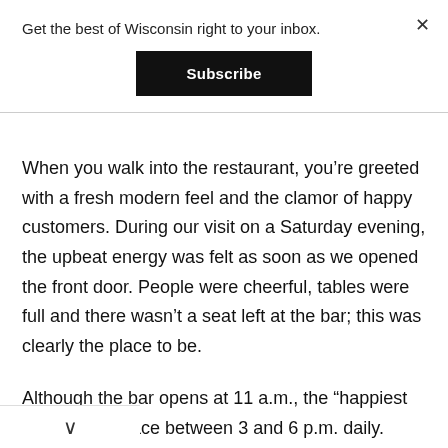Get the best of Wisconsin right to your inbox.
Subscribe
When you walk into the restaurant, you’re greeted with a fresh modern feel and the clamor of happy customers. During our visit on a Saturday evening, the upbeat energy was felt as soon as we opened the front door. People were cheerful, tables were full and there wasn’t a seat left at the bar; this was clearly the place to be.
Although the bar opens at 11 a.m., the “happiest hour” takes place between 3 and 6 p.m. daily. Favorites from